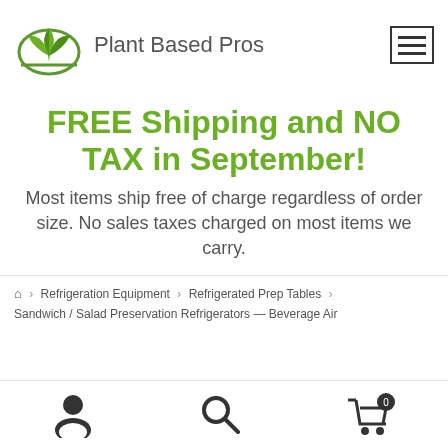[Figure (logo): Plant Based Pros logo: green leaf/plant icon with arch, next to text 'Plant Based Pros']
[Figure (other): Hamburger menu icon (three horizontal lines) in a square border]
FREE Shipping and NO TAX in September!
Most items ship free of charge regardless of order size. No sales taxes charged on most items we carry.
Home › Refrigeration Equipment › Refrigerated Prep Tables ›
Sandwich / Salad Preservation Refrigerators — Beverage Air
[Figure (other): Bottom navigation bar with user/account icon, search icon, and shopping cart icon with badge showing 0]